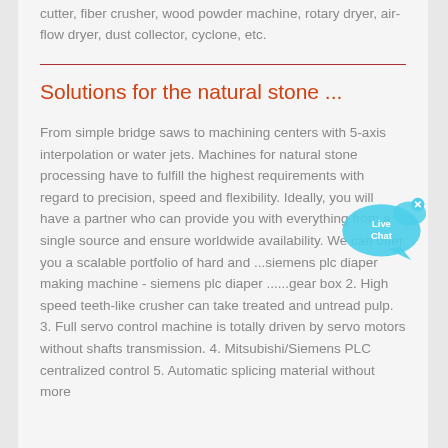cutter, fiber crusher, wood powder machine, rotary dryer, air-flow dryer, dust collector, cyclone, etc.
Solutions for the natural stone ...
From simple bridge saws to machining centers with 5-axis interpolation or water jets. Machines for natural stone processing have to fulfill the highest requirements with regard to precision, speed and flexibility. Ideally, you will have a partner who can provide you with everything from a single source and ensure worldwide availability. We can offer you a scalable portfolio of hard and ...siemens plc diaper making machine - siemens plc diaper ......gear box 2. High speed teeth-like crusher can take treated and untread pulp. 3. Full servo control machine is totally driven by servo motors without shafts transmission. 4. Mitsubishi/Siemens PLC centralized control 5. Automatic splicing material without more
[Figure (other): Live Chat bubble button — a cyan speech bubble with 'Live Chat' text and a small X close button]